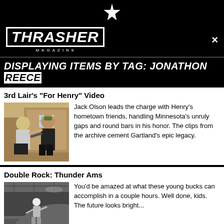THRASHER MAGAZINE
DISPLAYING ITEMS BY TAG: JONATHON REECE
3rd Lair's "For Henry" Video
[Figure (photo): Two people outdoors near a brick building, one in a green cap and dark clothing, the other in a patterned shirt, appearing to interact]
Jack Olson leads the charge with Henry's hometown friends, handling Minnesota's unruly gaps and round bars in his honor. The clips from the archive cement Gartland's epic legacy.
Double Rock: Thunder Ams
[Figure (photo): Black and white photo of a skateboarder performing a trick at an indoor skate spot]
You'd be amazed at what these young bucks can accomplish in a couple hours. Well done, kids. The future looks bright...